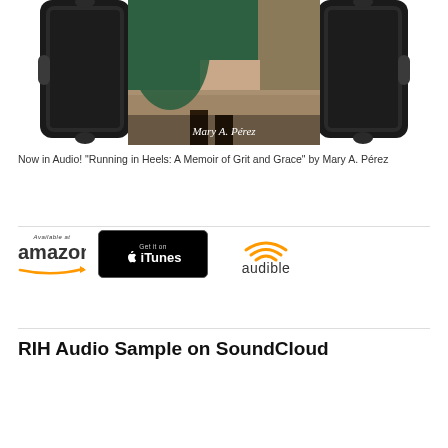[Figure (photo): Book audio mockup showing 'Running in Heels: A Memoir of Grit and Grace' by Mary A. Pérez displayed on audio device screens. The book cover shows a woman in a green dress. Two device screens flank a central larger display with the book cover.]
Now in Audio! "Running in Heels: A Memoir of Grit and Grace" by Mary A. Pérez
[Figure (logo): Three store badges: Amazon (Available at amazon with orange swoosh), iTunes (Get it on iTunes on black badge), Audible (audible logo with orange wifi-like waves)]
RIH Audio Sample on SoundCloud